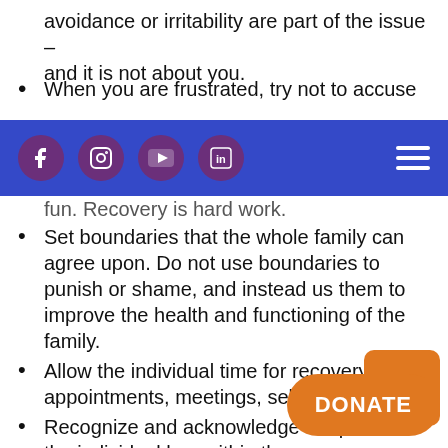avoidance or irritability are part of the issue – and it is not about you.
When you are frustrated, try not to accuse
[Figure (screenshot): Blue navigation bar with social media icons (Facebook, Instagram, YouTube, LinkedIn) on purple circles, and a hamburger menu icon on the right]
fun. Recovery is hard work.
Set boundaries that the whole family can agree upon. Do not use boundaries to punish or shame, and instead us them to improve the health and functioning of the family.
Allow the individual time for recovery – ti appointments, meetings, self-care, and
Recognize and acknowledge the potential the individual has within them.
Behave as you would if your loved one had a serious illness – what would yo re diagnosed with cancer or hear